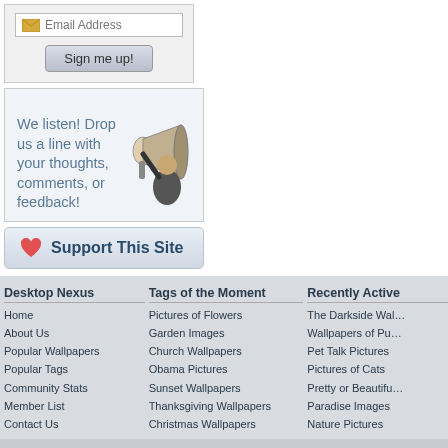[Figure (screenshot): Email signup box with envelope icon and 'Email Address' placeholder text input field, and a 'Sign me up!' button below]
We listen! Drop us a line with your thoughts, comments, or feedback!
[Figure (illustration): Black and white illustration of a man shouting into a megaphone]
❤ Support This Site
Desktop Nexus
Home
About Us
Popular Wallpapers
Popular Tags
Community Stats
Member List
Contact Us
Tags of the Moment
Pictures of Flowers
Garden Images
Church Wallpapers
Obama Pictures
Sunset Wallpapers
Thanksgiving Wallpapers
Christmas Wallpapers
Recently Active
The Darkside Wal…
Wallpapers of Pu…
Pet Talk Pictures
Pictures of Cats
Pretty or Beautifu…
Paradise Images
Nature Pictures
Privacy Policy 🔒 | Terms of Service | Partnerships | DMCA Copyright Violation
© Desktop Nexus - All rights reserved.
Page rendered with 6 queries (and 0 cached) in 0.101 seconds from server 84.